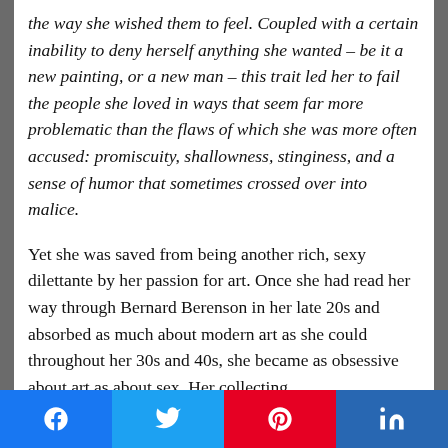the way she wished them to feel. Coupled with a certain inability to deny herself anything she wanted – be it a new painting, or a new man – this trait led her to fail the people she loved in ways that seem far more problematic than the flaws of which she was more often accused: promiscuity, shallowness, stinginess, and a sense of humor that sometimes crossed over into malice.
Yet she was saved from being another rich, sexy dilettante by her passion for art. Once she had read her way through Bernard Berenson in her late 20s and absorbed as much about modern art as she could throughout her 30s and 40s, she became as obsessive about art as about sex. Her collecting